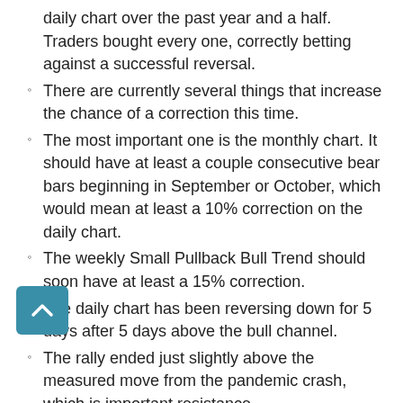daily chart over the past year and a half. Traders bought every one, correctly betting against a successful reversal.
There are currently several things that increase the chance of a correction this time.
The most important one is the monthly chart. It should have at least a couple consecutive bear bars beginning in September or October, which would mean at least a 10% correction on the daily chart.
The weekly Small Pullback Bull Trend should soon have at least a 15% correction.
The daily chart has been reversing down for 5 days after 5 days above the bull channel.
The rally ended just slightly above the measured move from the pandemic crash, which is important resistance.
There is a higher high major trend reversal and an expanding triangle (it began with the July 26 high).
The past 2 days were big bear bars.